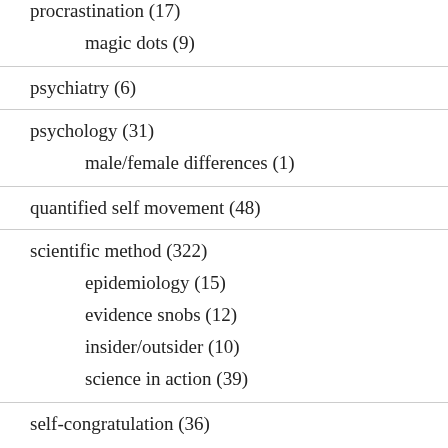procrastination (17)
magic dots (9)
psychiatry (6)
psychology (31)
male/female differences (1)
quantified self movement (48)
scientific method (322)
epidemiology (15)
evidence snobs (12)
insider/outsider (10)
science in action (39)
self-congratulation (36)